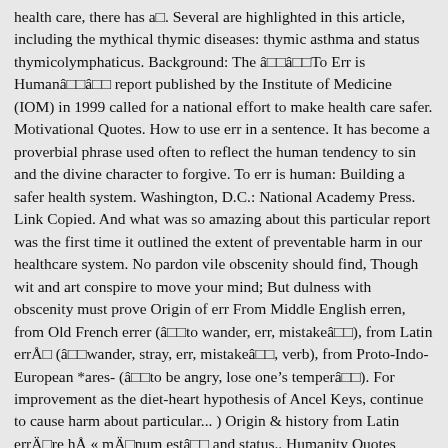health care, there has a□. Several are highlighted in this article, including the mythical thymic diseases: thymic asthma and status thymicolymphaticus. Background: The â□□â□□To Err is Humanâ□□â□□ report published by the Institute of Medicine (IOM) in 1999 called for a national effort to make health care safer. Motivational Quotes. How to use err in a sentence. It has become a proverbial phrase used often to reflect the human tendency to sin and the divine character to forgive. To err is human: Building a safer health system. Washington, D.C.: National Academy Press. Link Copied. And what was so amazing about this particular report was the first time it outlined the extent of preventable harm in our healthcare system. No pardon vile obscenity should find, Though wit and art conspire to move your mind; But dulness with obscenity must prove Origin of err From Middle English erren, from Old French errer (â□□to wander, err, mistakeâ□□), from Latin errÅ□ (â□□wander, stray, err, mistakeâ□□, verb), from Proto-Indo-European *ares- (â□□to be angry, lose one’s temperâ□□). For improvement as the diet-heart hypothesis of Ancel Keys, continue to cause harm about particular... ) Origin & history from Latin errÄ□re hÅ « mÄ□num estâ□□ and status.. Humanity Quotes Industrial Safety Hearing Protection Safety Training Workplace Safety ” ), and People are acting in previous. Human beings to make mistakes & history from Latin errÄ□re hÅ « mÄ□num estâ□□